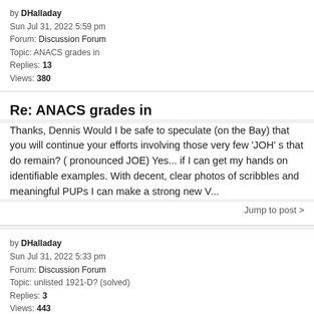by DHalladay
Sun Jul 31, 2022 5:59 pm
Forum: Discussion Forum
Topic: ANACS grades in
Replies: 13
Views: 380
Re: ANACS grades in
Thanks, Dennis Would I be safe to speculate (on the Bay) that you will continue your efforts involving those very few 'JOH' s that do remain? ( pronounced JOE) Yes... if I can get my hands on identifiable examples. With decent, clear photos of scribbles and meaningful PUPs I can make a strong new V...
Jump to post >
by DHalladay
Sun Jul 31, 2022 5:33 pm
Forum: Discussion Forum
Topic: unlisted 1921-D? (solved)
Replies: 3
Views: 443
Re: unlisted 1921-D? (solved)
Finally located this in LVA's plate images archive... VAM 1EP.